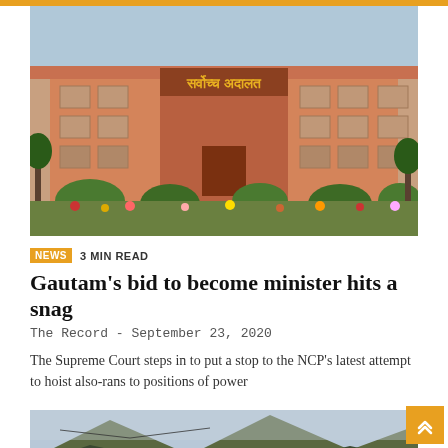[Figure (photo): Supreme Court building of Nepal with Devanagari text on facade, surrounded by manicured gardens with flowers]
NEWS  3 MIN READ
Gautam's bid to become minister hits a snag
The Record - September 23, 2020
The Supreme Court steps in to put a stop to the NCP's latest attempt to hoist also-rans to positions of power
[Figure (photo): Landscape photo showing mountains and a river or lake valley with hazy sky]